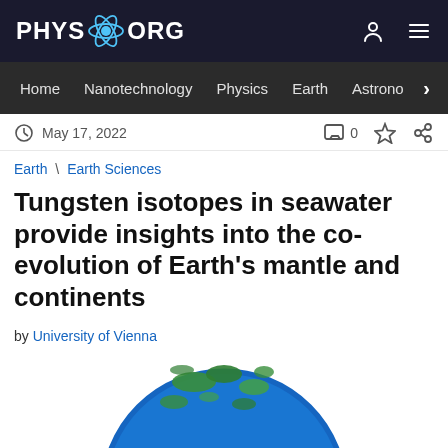PHYS.ORG
Home | Nanotechnology | Physics | Earth | Astronomy >
May 17, 2022
Earth \ Earth Sciences
Tungsten isotopes in seawater provide insights into the co-evolution of Earth's mantle and continents
by University of Vienna
[Figure (illustration): Cross-section diagram of Earth showing interior layers including core, mantle, and crust with green continents and blue oceans visible on the surface]